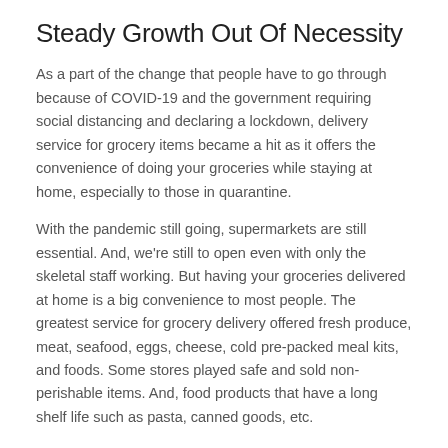Steady Growth Out Of Necessity
As a part of the change that people have to go through because of COVID-19 and the government requiring social distancing and declaring a lockdown, delivery service for grocery items became a hit as it offers the convenience of doing your groceries while staying at home, especially to those in quarantine.
With the pandemic still going, supermarkets are still essential. And, we're still to open even with only the skeletal staff working. But having your groceries delivered at home is a big convenience to most people. The greatest service for grocery delivery offered fresh produce, meat, seafood, eggs, cheese, cold pre-packed meal kits, and foods. Some stores played safe and sold non-perishable items. And, food products that have a long shelf life such as pasta, canned goods, etc.
Considering the delivery fees and times, grocery